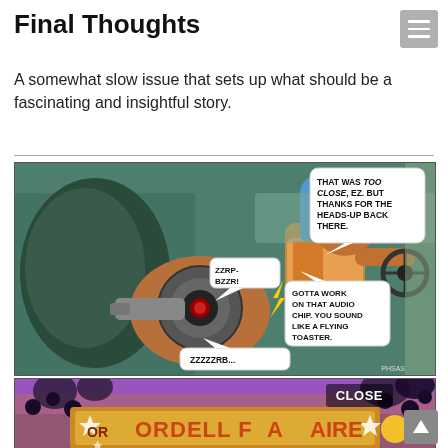Final Thoughts
A somewhat slow issue that sets up what should be a fascinating and insightful story.
[Figure (illustration): Comic book panel showing a young woman with blue hair driving a vehicle, holding a spherical mechanical robot. Speech bubbles read: 'THAT WAS TOO CLOSE, EZ. BUT THANKS FOR THE HEADS-UP BACK THERE.' 'ZZRP-BZZR!' 'GOTTA WORK ON THAT AUDIO CHIP. YOU SOUND LIKE A FLYING TOASTER.' 'ZZZZZRB...']
[Figure (illustration): Comic book panel showing a fairground sign reading 'ORDELL FAIRE' against a purple twilight sky with decorative elements. A 'CLOSE' button overlay is visible.]